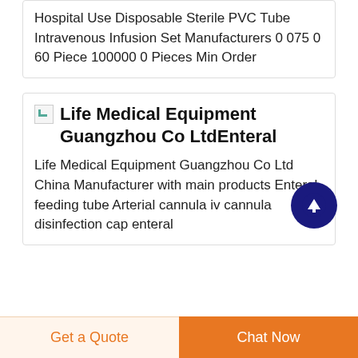Hospital Use Disposable Sterile PVC Tube Intravenous Infusion Set Manufacturers 0 075 0 60 Piece 100000 0 Pieces Min Order
Life Medical Equipment Guangzhou Co LtdEnteral
Life Medical Equipment Guangzhou Co Ltd China Manufacturer with main products Enteral feeding tube Arterial cannula iv cannula disinfection cap enteral
[Figure (screenshot): Scroll to top button — dark navy blue circle with white upward arrow]
Get a Quote | Chat Now